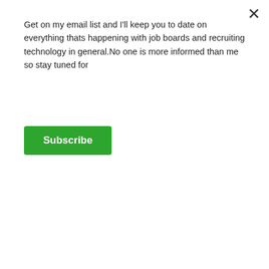Get on my email list and I'll keep you to date on everything thats happening with job boards and recruiting technology in general.No one is more informed than me so stay tuned for
Subscribe
[Figure (screenshot): Grid of book/product cards: Combo Pack, Essential Guide to Job Board Marketing, The Big List of Backfill Providers, Launching Your Job Board ($30), Monetizing Your Job Board Beyond Postings ($20), How to Sell Your Job Board ($50)]